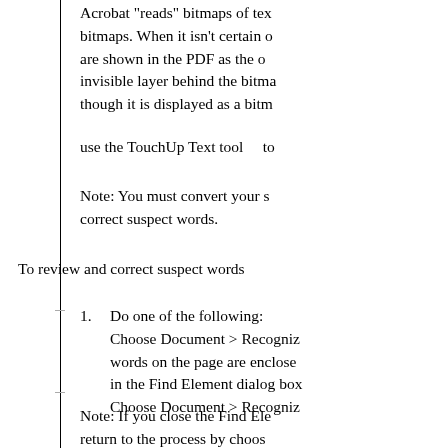Acrobat "reads" bitmaps of text bitmaps. When it isn't certain of are shown in the PDF as the o invisible layer behind the bitma though it is displayed as a bitm
use the TouchUp Text tool   to
Note: You must convert your s correct suspect words.
To review and correct suspect words
1.  Do one of the following: Choose Document > Recogniz words on the page are enclose in the Find Element dialog box Choose Document > Recogniz
Note: If you close the Find Ele return to the process by choos